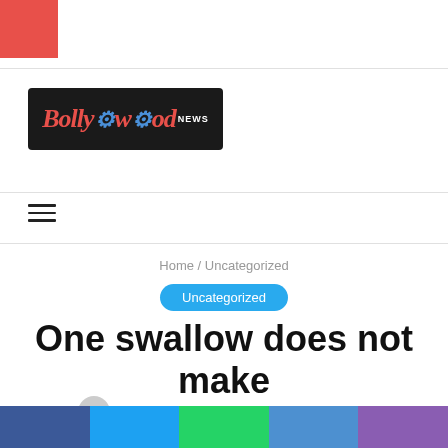[Figure (logo): Bollywood News logo — dark background with red italic 'Bollywood' text and film reel icon and 'NEWS' text]
Home / Uncategorized
Uncategorized
One swallow does not make the spring
admin_news  4,666  6 minutes read